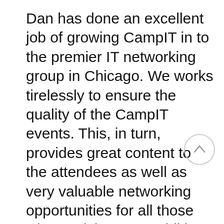Dan has done an excellent job of growing CampIT in to the premier IT networking group in Chicago. We works tirelessly to ensure the quality of the CampIT events. This, in turn, provides great content to the attendees as well as very valuable networking opportunities for all those who participate. In addition, Dan is always available to help people network by making introductions and recommendations. He has